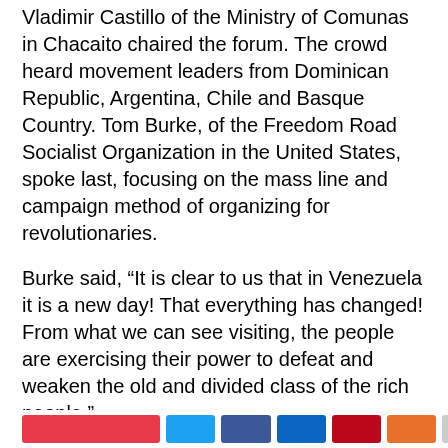Vladimir Castillo of the Ministry of Comunas in Chacaito chaired the forum. The crowd heard movement leaders from Dominican Republic, Argentina, Chile and Basque Country. Tom Burke, of the Freedom Road Socialist Organization in the United States, spoke last, focusing on the mass line and campaign method of organizing for revolutionaries.
Burke said, “It is clear to us that in Venezuela it is a new day! That everything has changed! From what we can see visiting, the people are exercising their power to defeat and weaken the old and divided class of the rich people.”
Burke continued, “The movements of the working class and oppressed peoples in the United States are rising. Together we can make an unbreakable bond and defeat Trump and defeat the imperialists. Somos los Bolivarianos del Norte!”